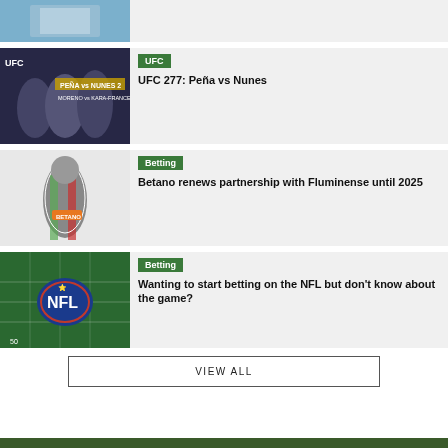[Figure (photo): Partial top image, cropped at top of page]
[Figure (photo): UFC 277 promotional image with fighters Peña vs Nunes 2, Moreno vs Kara-France 2]
UFC
UFC 277: Peña vs Nunes
[Figure (photo): Betano athlete wearing Fluminense jersey pointing to Betano logo]
Betting
Betano renews partnership with Fluminense until 2025
[Figure (photo): NFL field aerial view with NFL logo]
Betting
Wanting to start betting on the NFL but don't know about the game?
VIEW ALL